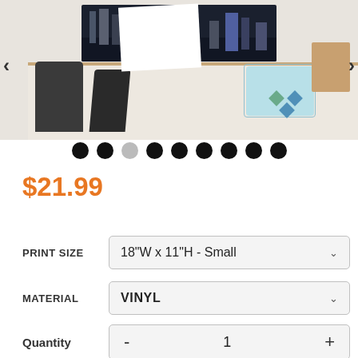[Figure (photo): Product image showing a city skyline wall decal in a room setting, with navigation arrows on left and right sides]
[Figure (other): Image carousel navigation dots, 9 dots total, third dot is lighter (inactive/selected)]
$21.99
PRINT SIZE: 18"W x 11"H - Small (dropdown)
MATERIAL: VINYL (dropdown)
Quantity: 1 (with - and + controls)